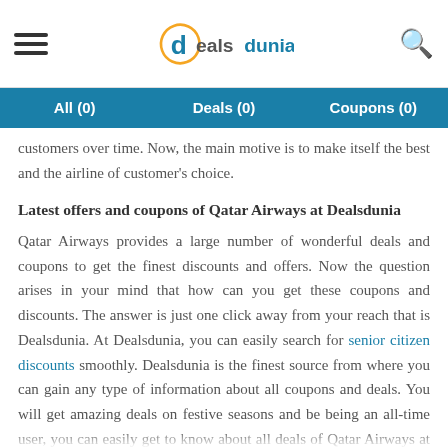dealsdunia — hamburger menu and search icon
All (0)   Deals (0)   Coupons (0)
customers over time. Now, the main motive is to make itself the best and the airline of customer's choice.
Latest offers and coupons of Qatar Airways at Dealsdunia
Qatar Airways provides a large number of wonderful deals and coupons to get the finest discounts and offers. Now the question arises in your mind that how can you get these coupons and discounts. The answer is just one click away from your reach that is Dealsdunia. At Dealsdunia, you can easily search for senior citizen discounts smoothly. Dealsdunia is the finest source from where you can gain any type of information about all coupons and deals. You will get amazing deals on festive seasons and be being an all-time user, you can easily get to know about all deals of Qatar Airways at Dealsdunia.